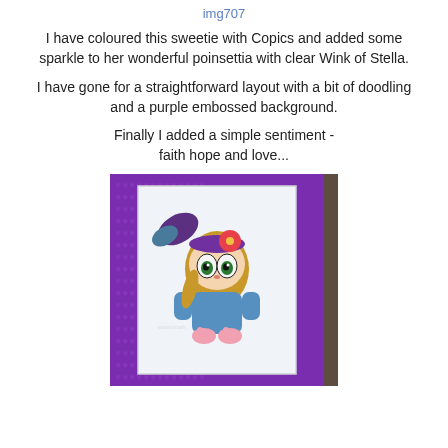img707
I have coloured this sweetie with Copics and added some sparkle to her wonderful poinsettia with clear Wink of Stella.
I have gone for a straightforward layout with a bit of doodling and a purple embossed background.
Finally I added a simple sentiment -
faith hope and love...
[Figure (photo): A handmade card featuring a cute anime-style girl with big green eyes, purple hair bow, red poinsettia flower, blue outfit, and small pink bunny shoes. The card has a purple embossed heart-pattern background with a white inner panel.]